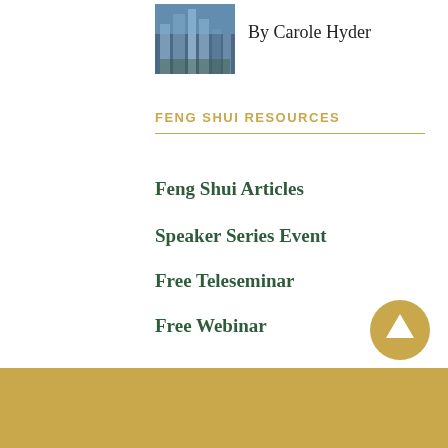[Figure (photo): Small thumbnail photo of a city skyline with tall buildings]
By Carole Hyder
FENG SHUI RESOURCES
Feng Shui Articles
Speaker Series Event
Free Teleseminar
Free Webinar
[Figure (illustration): Golden circular scroll-to-top button with upward arrow icon]